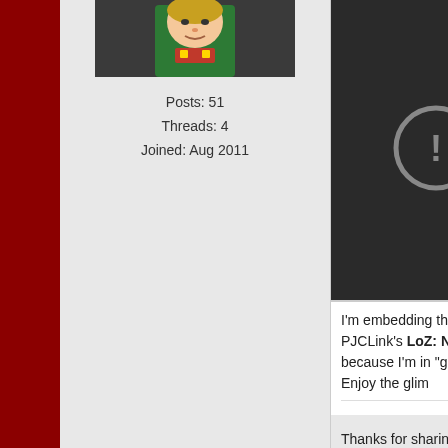[Figure (photo): Forum avatar: animated character in green costume, cropped at top]
Posts: 51
Threads: 4
Joined: Aug 2011
[Figure (screenshot): Embedded video player showing error: 'Video u...' and 'This vide...' with circular exclamation icon on dark background]
I'm embedding the trailer for PJCLink's LoZ: Netho... because I'm in "gotta go fast" mode. Enjoy the glim...
Thanks for sharing my video on here, it really helps...
Anyways, can you help me fix a problem I'm having... having trouble embedding the video there properly.